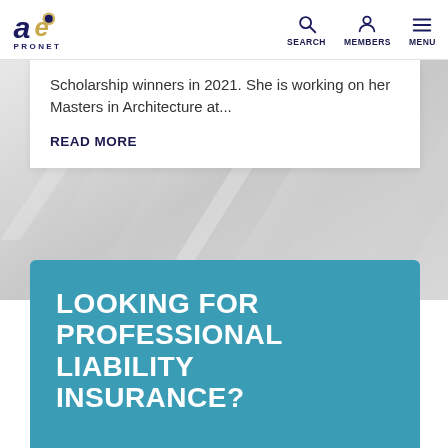AE ProNet — SEARCH MEMBERS MENU
Scholarship winners in 2021. She is working on her Masters in Architecture at...
READ MORE
[Figure (illustration): Diagonal metallic/silver abstract background with diagonal lines and reflective surfaces]
LOOKING FOR PROFESSIONAL LIABILITY INSURANCE?